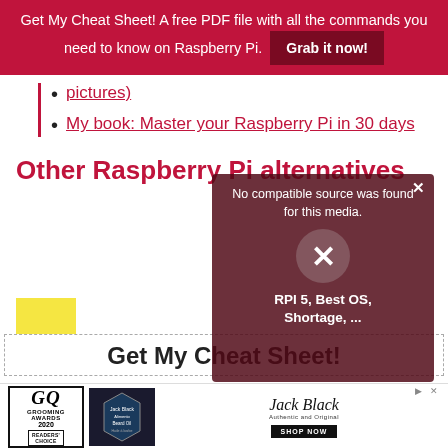Get My Cheat Sheet! A free PDF file with all the commands you need to know on Raspberry Pi. Grab it now!
pictures)
My book: Master your Raspberry Pi in 30 days
Other Raspberry Pi alternatives
[Figure (screenshot): Video player overlay showing 'No compatible source was found for this media.' with an X close button, a circle X dismiss button, and subtitle text 'RPI 5, Best OS, Shortage, ...' over a Raspberry Pi Q&A themed background]
Get My Cheat Sheet!
[Figure (photo): Advertisement: GQ Grooming Awards 2020 Readers' Choice, Jack Black Beard Oil product, Jack Black Authentic and Original branding with Shop Now button]